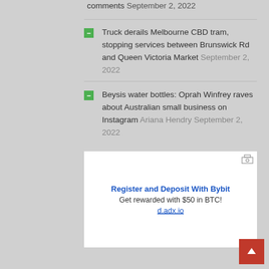comments September 2, 2022
Truck derails Melbourne CBD tram, stopping services between Brunswick Rd and Queen Victoria Market September 2, 2022
Beysis water bottles: Oprah Winfrey raves about Australian small business on Instagram Ariana Hendry September 2, 2022
[Figure (other): Advertisement box: Register and Deposit With Bybit, Get rewarded with $50 in BTC!, d.adx.io]